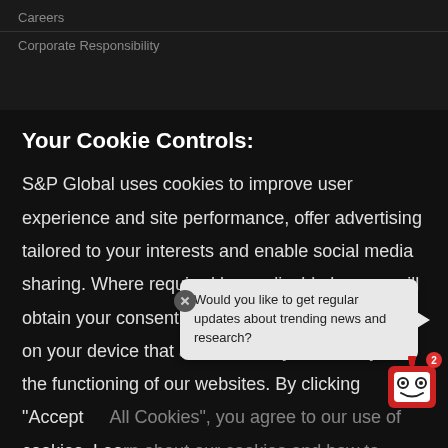Careers
Corporate Responsibility
Your Cookie Controls:
S&P Global uses cookies to improve user experience and site performance, offer advertising tailored to your interests and enable social media sharing. Where required by applicable law, we will obtain your consent before we place any cookies on your device that are not strictly necessary for the functioning of our websites. By clicking "Accept All Cookies", you agree to our use of cookies. Learn about our cookies and how to modify your preferences in our Cookies Notice.
Would you like to get regular updates about trending news and research?